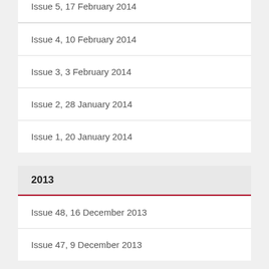Issue 5, 17 February 2014
Issue 4, 10 February 2014
Issue 3, 3 February 2014
Issue 2, 28 January 2014
Issue 1, 20 January 2014
2013
Issue 48, 16 December 2013
Issue 47, 9 December 2013